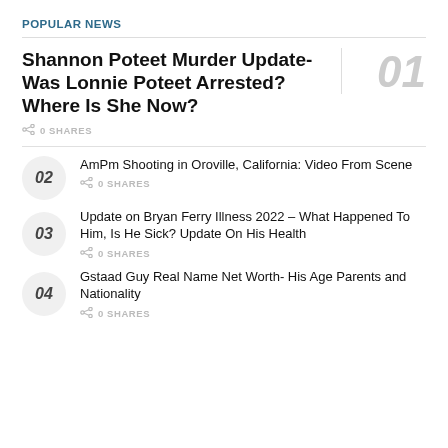POPULAR NEWS
Shannon Poteet Murder Update- Was Lonnie Poteet Arrested? Where Is She Now?
0 SHARES
AmPm Shooting in Oroville, California: Video From Scene
0 SHARES
Update on Bryan Ferry Illness 2022 – What Happened To Him, Is He Sick? Update On His Health
0 SHARES
Gstaad Guy Real Name Net Worth- His Age Parents and Nationality
0 SHARES